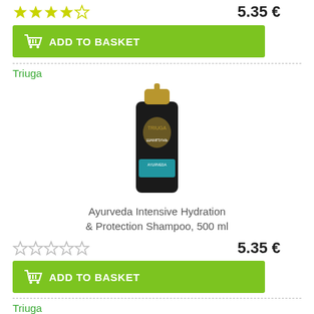[Figure (other): Star rating: 3.5 out of 5 stars (yellow/grey) and price 5.35 €]
[Figure (other): Green 'ADD TO BASKET' button with shopping basket icon]
Triuga
[Figure (photo): Product bottle: Triuga Ayurveda Intensive Hydration & Protection Shampoo, 500 ml, black bottle with gold cap]
Ayurveda Intensive Hydration & Protection Shampoo, 500 ml
[Figure (other): Star rating: 0 out of 5 stars (grey) and price 5.35 €]
[Figure (other): Green 'ADD TO BASKET' button with shopping basket icon]
Triuga